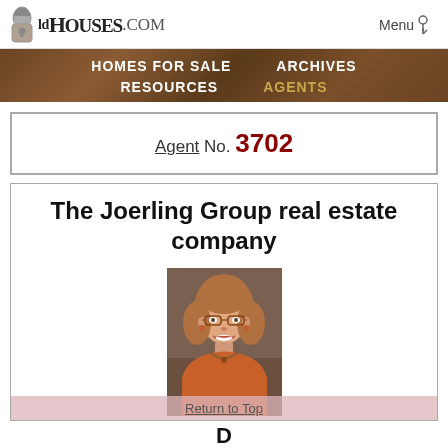[Figure (screenshot): OldHouses.com website header with logo (keyhole lock icon + text 'OldHouses.COM') and Menu link with key icon]
[Figure (screenshot): Navigation bar with dark wood texture background showing links: HOMES FOR SALE, ARCHIVES, RESOURCES, AGENTS (in gold)]
Agent No. 3702
The Joerling Group real estate company
[Figure (photo): Portrait photo of a woman with short reddish-blonde hair, glasses, wearing an orange top with a necklace, smiling at the camera]
Return to Top